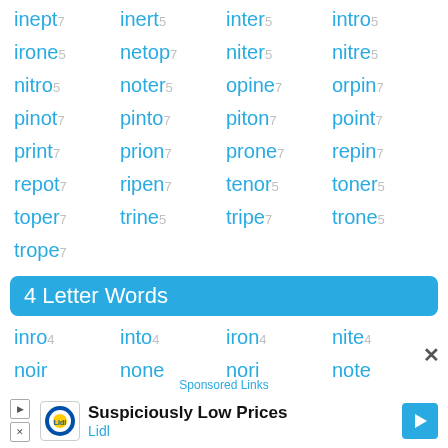inept₇ inert₅ inter₅ intro₅
irone₅ netop₇ niter₅ nitre₅
nitro₅ noter₅ opine₇ orpin₇
pinot₇ pinto₇ piton₇ point₇
print₇ prion₇ prone₇ repin₇
repot₇ ripen₇ tenor₅ toner₅
toper₇ trine₅ tripe₇ trone₅
trope₇
4 Letter Words
inro₄ into₄ iron₄ nite₄
noir₄ none₄ nori₄ note₄
[Figure (screenshot): Advertisement banner: Suspiciously Low Prices - Lidl, with Lidl logo and blue arrow button. Sponsored Links label above.]